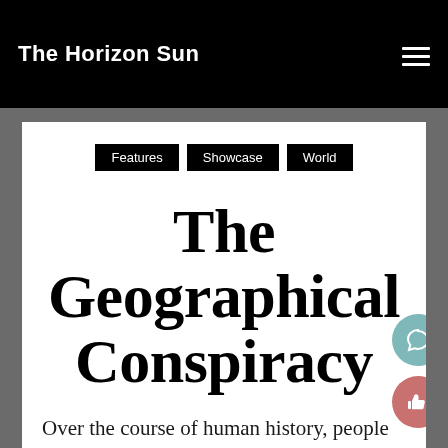The Horizon Sun
Features
Showcase
World
The Geographical Conspiracy
Over the course of human history, people